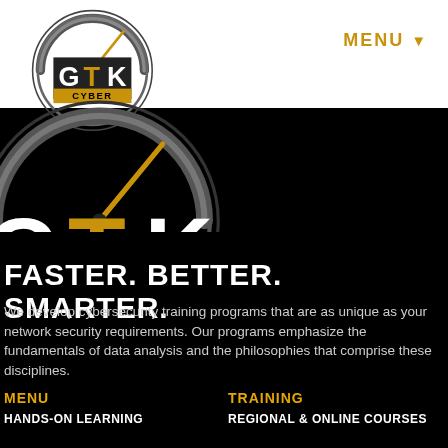[Figure (logo): GTK Cyber logo — speedometer/gauge arc in grey with gold needle, white letters GTK stacked with CYBER banner in gold, appearing twice (small in white header area, large overlapping into black area)]
MENU ▾
FASTER. BETTER. SMARTER.
We develop cybersecurity training programs that are as unique as your network security requirements. Our programs emphasize the fundamentals of data analysis and the philosophies that comprise these disciplines.
MENU
HANDS-ON LEARNING
TRAINING
REGIONAL & ONLINE COURSES